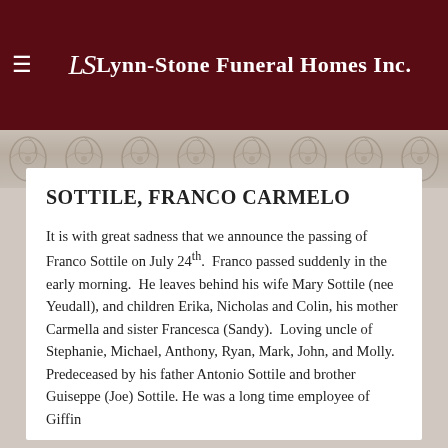Lynn-Stone Funeral Homes Inc.
SOTTILE, FRANCO CARMELO
It is with great sadness that we announce the passing of Franco Sottile on July 24th. Franco passed suddenly in the early morning. He leaves behind his wife Mary Sottile (nee Yeudall), and children Erika, Nicholas and Colin, his mother Carmella and sister Francesca (Sandy). Loving uncle of Stephanie, Michael, Anthony, Ryan, Mark, John, and Molly. Predeceased by his father Antonio Sottile and brother Guiseppe (Joe) Sottile. He was a long time employee of Giffin